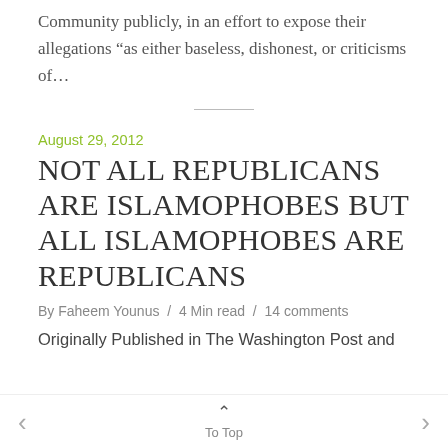Community publicly, in an effort to expose their allegations “as either baseless, dishonest, or criticisms of…
August 29, 2012
NOT ALL REPUBLICANS ARE ISLAMOPHOBES BUT ALL ISLAMOPHOBES ARE REPUBLICANS
By Faheem Younus / 4 Min read / 14 comments
Originally Published in The Washington Post and
< To Top >